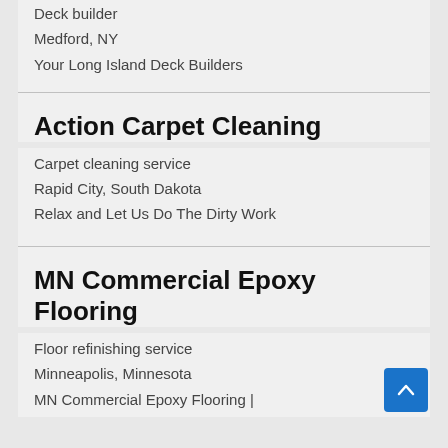Deck builder
Medford, NY
Your Long Island Deck Builders
Action Carpet Cleaning
Carpet cleaning service
Rapid City, South Dakota
Relax and Let Us Do The Dirty Work
MN Commercial Epoxy Flooring
Floor refinishing service
Minneapolis, Minnesota
MN Commercial Epoxy Flooring |